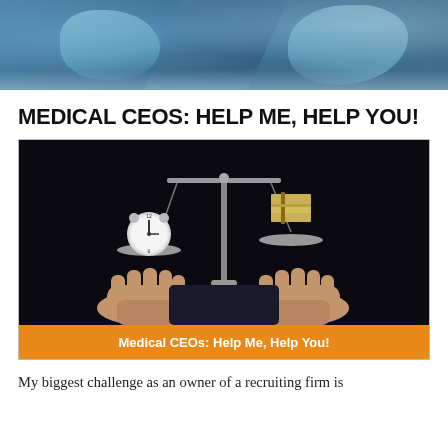[Figure (photo): Header photo showing medical professionals in blue scrubs, blurred background]
MEDICAL CEOS: HELP ME, HELP YOU!
[Figure (photo): Dark background image of hands holding a balance scale with a clock on one side and stacked money/cash on the other side, with an orange caption bar reading 'Medical CEOs: Help Me, Help You!']
Medical CEOs: Help Me, Help You!
My biggest challenge as an owner of a recruiting firm is